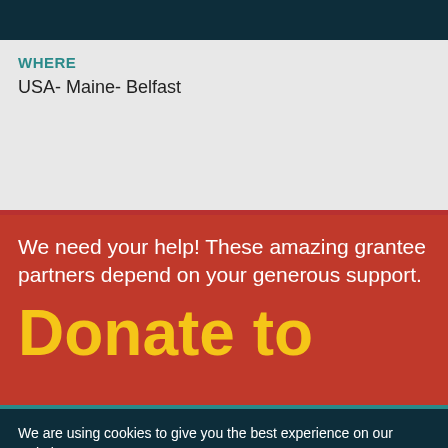WHERE
USA- Maine- Belfast
We need your help! These amazing grantee partners depend on your generous support.
Donate to
We are using cookies to give you the best experience on our website.
You can find out more about which cookies we are using or switch them off in settings.
Accept